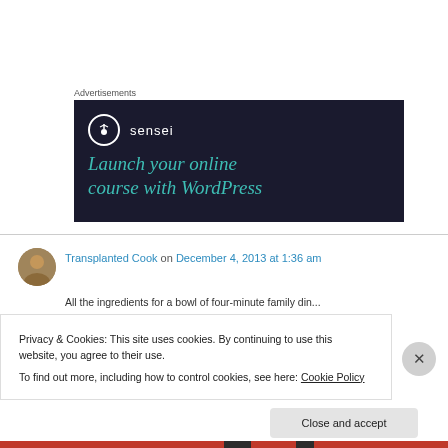Advertisements
[Figure (screenshot): Sensei plugin advertisement banner on dark navy background. Shows Sensei logo (tree icon in circle) with text 'sensei', and headline 'Launch your online course with WordPress' in teal/green italic font.]
Transplanted Cook on December 4, 2013 at 1:36 am
Privacy & Cookies: This site uses cookies. By continuing to use this website, you agree to their use.
To find out more, including how to control cookies, see here: Cookie Policy
Close and accept